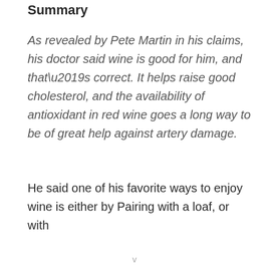Summary
As revealed by Pete Martin in his claims, his doctor said wine is good for him, and that’s correct. It helps raise good cholesterol, and the availability of antioxidant in red wine goes a long way to be of great help against artery damage.
He said one of his favorite ways to enjoy wine is either by Pairing with a loaf, or with
v